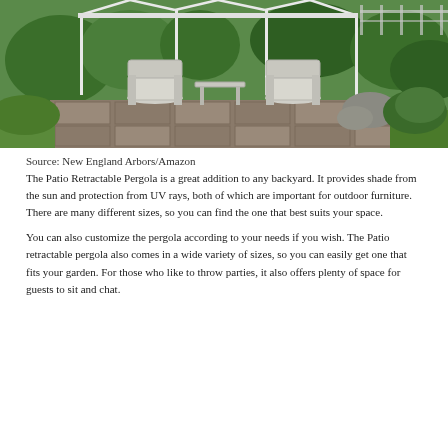[Figure (photo): Outdoor patio setting under a white pergola with white wicker chairs and a small table, surrounded by lush green garden and stone pathway.]
Source: New England Arbors/Amazon
The Patio Retractable Pergola is a great addition to any backyard. It provides shade from the sun and protection from UV rays, both of which are important for outdoor furniture. There are many different sizes, so you can find the one that best suits your space.
You can also customize the pergola according to your needs if you wish. The Patio retractable pergola also comes in a wide variety of sizes, so you can easily get one that fits your garden. For those who like to throw parties, it also offers plenty of space for guests to sit and chat.